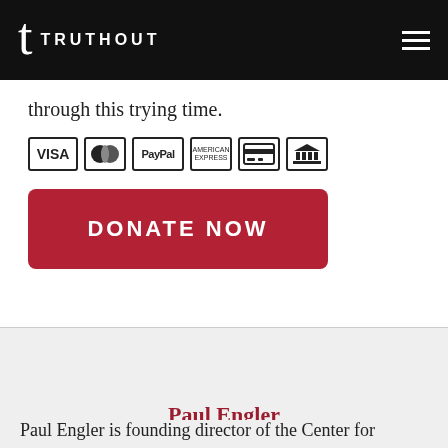TRUTHOUT
through this trying time.
[Figure (other): Payment method icons: VISA, Mastercard, PayPal, American Express, credit card, bank transfer]
[Figure (other): Red donate button with text DONATE NOW]
Paul Engler
Paul Engler is founding director of the Center for